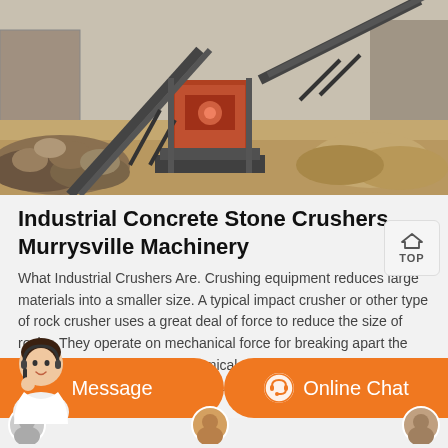[Figure (photo): Industrial stone crusher machinery at a quarry or construction site, with conveyor belts, crushing equipment, and piles of rock and rubble surrounding it. Concrete block walls are visible in the background.]
Industrial Concrete Stone Crushers Murrysville Machinery
What Industrial Crushers Are. Crushing equipment reduces large materials into a smaller size. A typical impact crusher or other type of rock crusher uses a great deal of force to reduce the size of rocks. They operate on mechanical force for breaking apart the large rocks as opposed to chemical or laser methods of breaking rocks. In many cases, primary crushers are a part of a